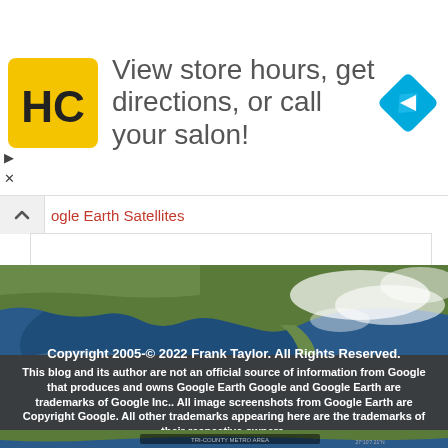[Figure (screenshot): Advertisement banner with HC logo (yellow square with black HC text), text 'View store hours, get directions, or call your salon!', and a blue diamond-shaped navigation icon on the right. Small play and X controls at bottom left.]
ogle Earth Satellites
[Figure (map): Google Earth satellite view of the southeastern United States including Florida, the Gulf of Mexico, and surrounding ocean and clouds.]
Copyright 2005-© 2022 Frank Taylor. All Rights Reserved.

This blog and its author are not an official source of information from Google that produces and owns Google Earth Google and Google Earth are trademarks of Google Inc.. All image screenshots from Google Earth are Copyright Google. All other trademarks appearing here are the trademarks of their respective owners.
[Figure (map): Bottom strip of Google Earth satellite imagery with watermark text.]